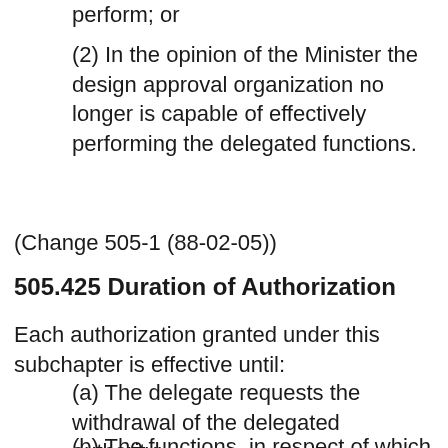perform; or
(2) In the opinion of the Minister the design approval organization no longer is capable of effectively performing the delegated functions.
(Change 505-1 (88-02-05))
505.425 Duration of Authorization
Each authorization granted under this subchapter is effective until:
(a) The delegate requests the withdrawal of the delegated authority;
(b) The functions, in respect of which